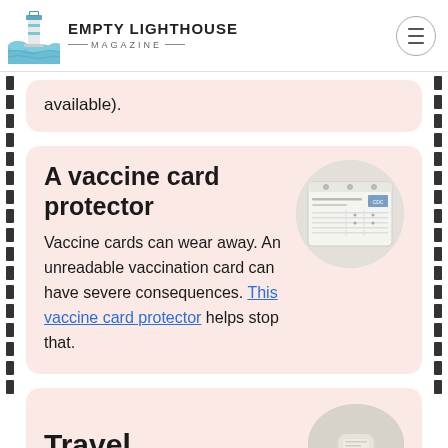EMPTY LIGHTHOUSE MAGAZINE
available).
A vaccine card protector
Vaccine cards can wear away. An unreadable vaccination card can have severe consequences. This vaccine card protector helps stop that.
[Figure (photo): Circular image of a COVID-19 vaccine card in a plastic protector sleeve]
Travel
[Figure (photo): Circular image related to travel, appears to show travel-related items]